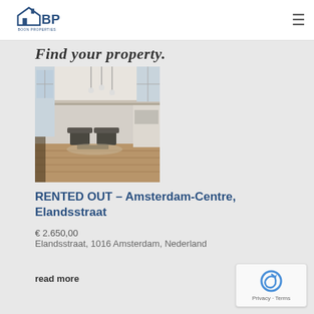Boon Properties
Find your property.
[Figure (photo): Interior photo of a modern Amsterdam apartment with high ceilings, pendant lighting, and open-plan living area with wooden floors]
RENTED OUT – Amsterdam-Centre, Elandsstraat
€ 2.650,00
Elandsstraat, 1016 Amsterdam, Nederland
read more